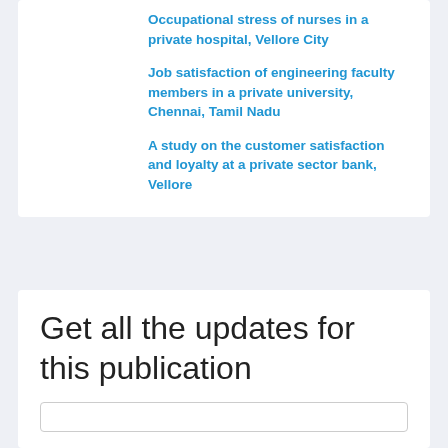Occupational stress of nurses in a private hospital, Vellore City
Job satisfaction of engineering faculty members in a private university, Chennai, Tamil Nadu
A study on the customer satisfaction and loyalty at a private sector bank, Vellore
Get all the updates for this publication